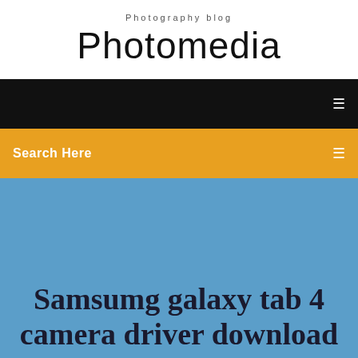Photography blog
Photomedia
[Figure (screenshot): Black navigation bar with white menu icon on the right]
Search Here
Samsumg galaxy tab 4 camera driver download